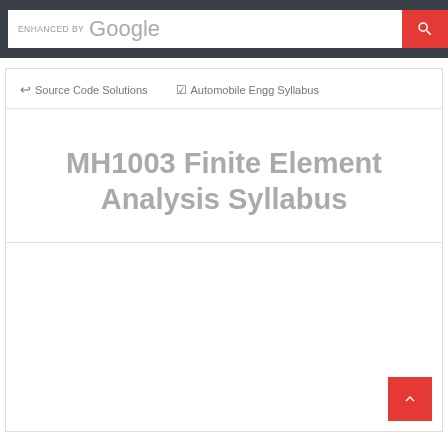ENHANCED BY Google
↩ Source Code Solutions   ☑ Automobile Engg Syllabus
MH1003 Finite Element Analysis Syllabus